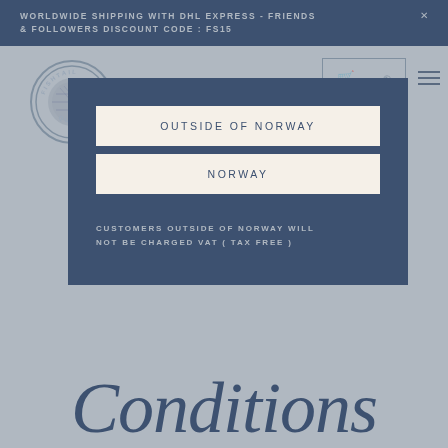WORLDWIDE SHIPPING WITH DHL EXPRESS - FRIENDS & FOLLOWERS DISCOUNT CODE : FS15
[Figure (logo): Fishtail brand circular stamp logo with FISHTAIL text at top and QUA- text at bottom of circle, with textured center]
OUTSIDE OF NORWAY
NORWAY
CUSTOMERS OUTSIDE OF NORWAY WILL NOT BE CHARGED VAT ( TAX FREE )
Conditions